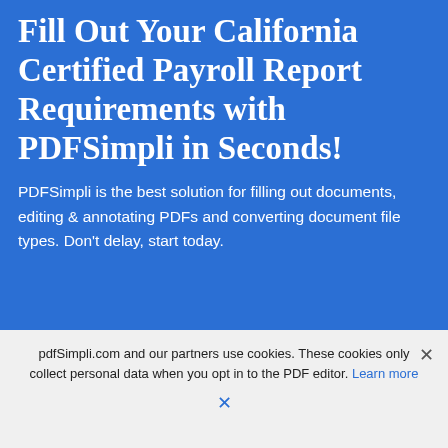Fill Out Your California Certified Payroll Report Requirements with PDFSimpli in Seconds!
PDFSimpli is the best solution for filling out documents, editing & annotating PDFs and converting document file types. Don't delay, start today.
pdfSimpli.com and our partners use cookies. These cookies only collect personal data when you opt in to the PDF editor. Learn more